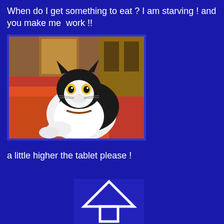When do I get something to eat ? I am starving ! and you make me  work !!
[Figure (photo): A black and white tuxedo cat lying on a red/orange bed or blanket, looking up at the camera with wide eyes. Wooden furniture visible in background.]
a little higher the tablet please !
[Figure (illustration): A blue square icon with a white triangle/house shape outline, partially visible at bottom of page.]